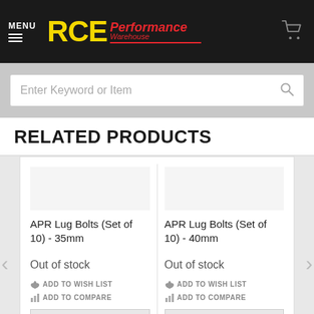MENU — RCE Performance Warehouse
Enter Keyword or Item
RELATED PRODUCTS
APR Lug Bolts (Set of 10) - 35mm
Out of stock
ADD TO WISH LIST
ADD TO COMPARE
Contact for Price
APR Lug Bolts (Set of 10) - 40mm
Out of stock
ADD TO WISH LIST
ADD TO COMPARE
Contact for Price